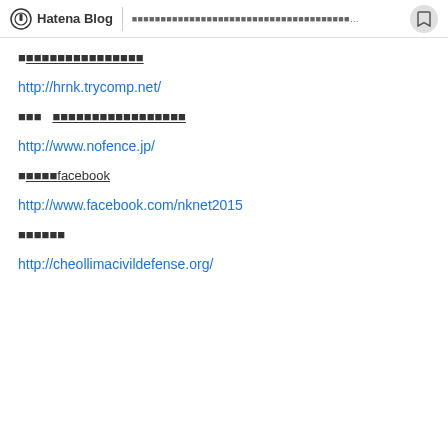Hatena Blog — [Japanese text navigation bar]
■[Japanese characters — section title 1]
http://hrnk.trycomp.net/
■関　[Japanese characters — section title 2]
http://www.nofence.jp/
■[Japanese characters]facebook
http://www.facebook.com/nknet2015
■[Japanese characters — section title 4]
http://cheollimacivildefense.org/